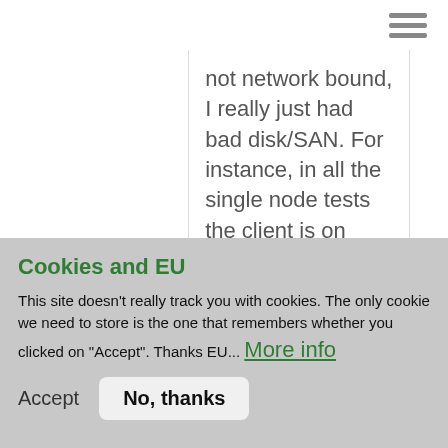not network bound, I really just had bad disk/SAN. For instance, in all the single node tests the client is on local host. I know the problem with the [multiple nodes and...]
Privacy settings
Cookies and EU
This site doesn't really track you with cookies. The only cookie we need to store is the one that remembers whether you clicked on "Accept". Thanks EU... More info
Accept   No, thanks